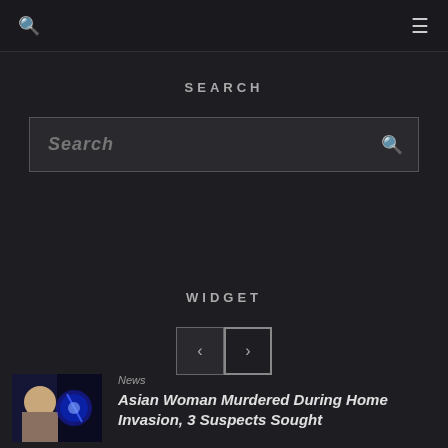🔍 ≡
SEARCH
search
WIDGET
[Figure (other): Navigation previous/next buttons: left arrow and right arrow]
News
Asian Woman Murdered During Home Invasion, 3 Suspects Sought